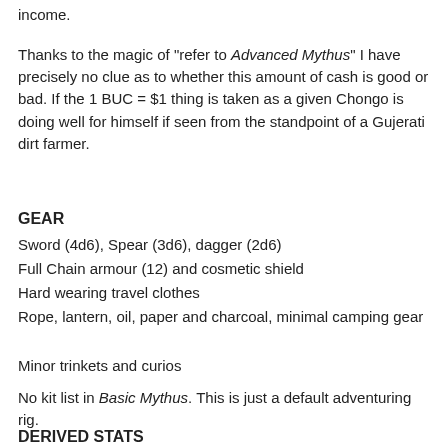income.
Thanks to the magic of "refer to Advanced Mythus" I have precisely no clue as to whether this amount of cash is good or bad. If the 1 BUC = $1 thing is taken as a given Chongo is doing well for himself if seen from the standpoint of a Gujerati dirt farmer.
GEAR
Sword (4d6), Spear (3d6), dagger (2d6)
Full Chain armour (12) and cosmetic shield
Hard wearing travel clothes
Rope, lantern, oil, paper and charcoal, minimal camping gear
Minor trinkets and curios
No kit list in Basic Mythus. This is just a default adventuring rig.
DERIVED STATS